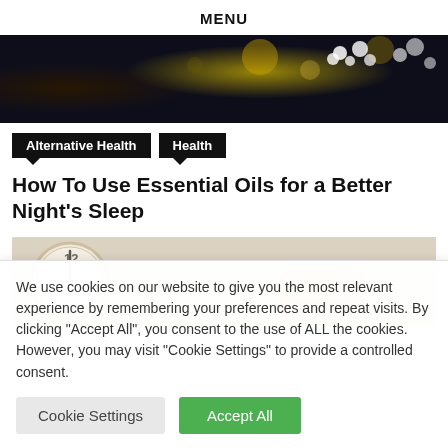MENU
[Figure (photo): Dark background with yellow/green bokeh lights and white flowers (essential oils theme)]
Alternative Health   Health
How To Use Essential Oils for a Better Night's Sleep
[Figure (photo): Close-up of a clock face showing 12 and 1, with a gold coin stack in the background]
We use cookies on our website to give you the most relevant experience by remembering your preferences and repeat visits. By clicking "Accept All", you consent to the use of ALL the cookies. However, you may visit "Cookie Settings" to provide a controlled consent.
Cookie Settings   Accept All